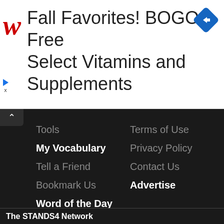[Figure (infographic): Walgreens advertisement banner: Fall Favorites! BOGO Free Select Vitamins and Supplements, with Walgreens cursive W logo in red and a blue diamond navigation icon]
Tools
My Vocabulary
Tell a Friend
Bookmark Us
Word of the Day
Definitions API
Word Finder
Vocabulary Builder
Crossword Maker
Articles
Terms of Use
Privacy Policy
Contact Us
Advertise
The STANDS4 Network